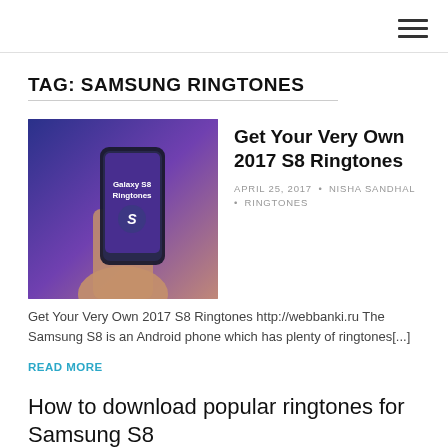TAG: SAMSUNG RINGTONES
[Figure (photo): Hand holding a Samsung Galaxy S8 phone with text 'Galaxy S8 Ringtones' on the screen, against a dark blue/purple background]
Get Your Very Own 2017 S8 Ringtones
APRIL 25, 2017 • NISHA SANDHAL • RINGTONES
Get Your Very Own 2017 S8 Ringtones http://webbanki.ru The Samsung S8 is an Android phone which has plenty of ringtones[...]
READ MORE
How to download popular ringtones for Samsung S8